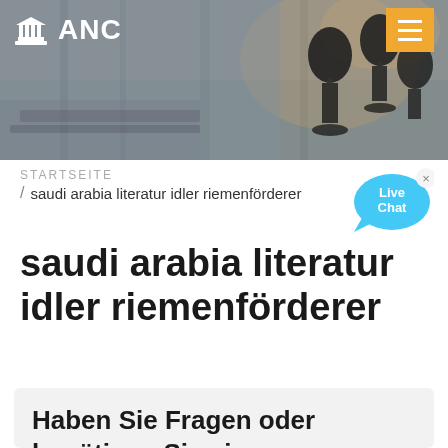[Figure (photo): Industrial/factory background image with microphones in foreground, overlaid with ANC logo and hamburger menu button]
ANC
STARTSEITE / saudi arabia literatur idler riemenförderer
saudi arabia literatur idler riemenförderer
Haben Sie Fragen oder benötigen Sie ein individuelles Angebot?